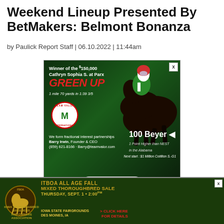Weekend Lineup Presented By BetMakers: Belmont Bonanza
by Paulick Report Staff | 06.10.2022 | 11:44am
[Figure (photo): Team Valor International advertisement featuring horse 'Green Up', winner of the $150,000 Cathryn Sophia S. at Parx. Shows 100 Beyer rating, 1 Point Higher than NEST in the Alabama. Next start: $1 Million Cotillion S.-G1. 1 mile 70 yards in 1:39 3/5. Barry Irwin, Founder & CEO contact info. JOIN NOW button.]
[Figure (photo): ITBOA All Age Fall Mixed Thoroughbred Sale advertisement. Thursday, Sept. 1 • 2:00pm. Iowa State Fairgrounds, Des Moines, IA. Iowa Thoroughbred Breeders and Owners Association. Click Here For Details.]